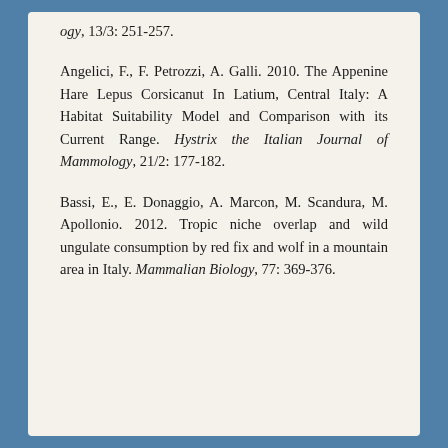ogy, 13/3: 251-257.
Angelici, F., F. Petrozzi, A. Galli. 2010. The Appenine Hare Lepus Corsicanut In Latium, Central Italy: A Habitat Suitability Model and Comparison with its Current Range. Hystrix the Italian Journal of Mammology, 21/2: 177-182.
Bassi, E., E. Donaggio, A. Marcon, M. Scandura, M. Apollonio. 2012. Tropic niche overlap and wild ungulate consumption by red fix and wolf in a mountain area in Italy. Mammalian Biology, 77: 369-376.